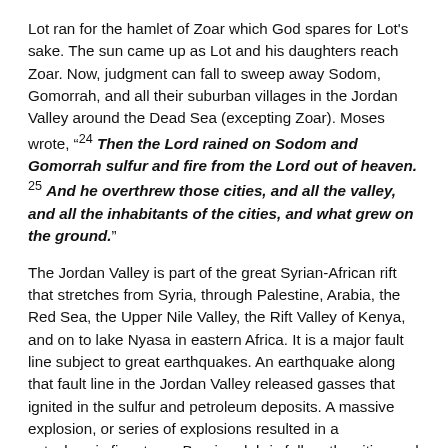Lot ran for the hamlet of Zoar which God spares for Lot's sake. The sun came up as Lot and his daughters reach Zoar. Now, judgment can fall to sweep away Sodom, Gomorrah, and all their suburban villages in the Jordan Valley around the Dead Sea (excepting Zoar). Moses wrote, “24 Then the Lord rained on Sodom and Gomorrah sulfur and fire from the Lord out of heaven. 25 And he overthrew those cities, and all the valley, and all the inhabitants of the cities, and what grew on the ground.”
The Jordan Valley is part of the great Syrian-African rift that stretches from Syria, through Palestine, Arabia, the Red Sea, the Upper Nile Valley, the Rift Valley of Kenya, and on to lake Nyasa in eastern Africa. It is a major fault line subject to great earthquakes. An earthquake along that fault line in the Jordan Valley released gasses that ignited in the sulfur and petroleum deposits. A massive explosion, or series of explosions resulted in a cataclysmic fire storm. Burning debris fell on the cities and hamlets the Dead Sea Plain. That, as many scholars hold, is the naturalistic explanation for this